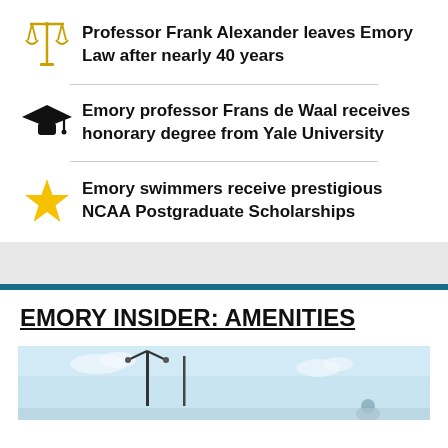Professor Frank Alexander leaves Emory Law after nearly 40 years
Emory professor Frans de Waal receives honorary degree from Yale University
Emory swimmers receive prestigious NCAA Postgraduate Scholarships
EMORY INSIDER: AMENITIES
[Figure (photo): Outdoor photo with light poles and blue sky, partial view of a person]